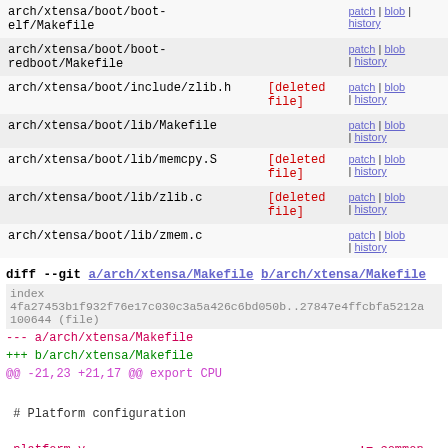| file | status | links |
| --- | --- | --- |
| arch/xtensa/boot/boot-elf/Makefile |  | patch | blob | history |
| arch/xtensa/boot/boot-redboot/Makefile |  | patch | blob | history |
| arch/xtensa/boot/include/zlib.h | [deleted file] | patch | blob | history |
| arch/xtensa/boot/lib/Makefile |  | patch | blob | history |
| arch/xtensa/boot/lib/memcpy.S | [deleted file] | patch | blob | history |
| arch/xtensa/boot/lib/zlib.c | [deleted file] | patch | blob | history |
| arch/xtensa/boot/lib/zmem.c |  | patch | blob | history |
diff --git a/arch/xtensa/Makefile b/arch/xtensa/Makefile
index 4fa27453b1f932f76e17c030c3a5a426c6bd050b..27847e4ffcbfa5212a 100644 (file)
--- a/arch/xtensa/Makefile
+++ b/arch/xtensa/Makefile
@@ -21,23 +21,17 @@ export CPU
# Platform configuration
-platform-y                                    := common
 platform-$(CONFIG_XTENSA_PLATFORM_XT2000)      := xt2000
 platform-$(CONFIG_XTENSA_PLATFORM_ISS)         := iss